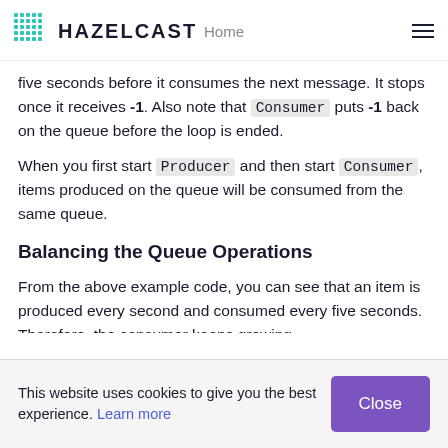HAZELCAST   Home
five seconds before it consumes the next message. It stops once it receives -1. Also note that Consumer puts -1 back on the queue before the loop is ended.
When you first start Producer and then start Consumer, items produced on the queue will be consumed from the same queue.
Balancing the Queue Operations
From the above example code, you can see that an item is produced every second and consumed every five seconds. Therefore, the consumer keeps growing
This website uses cookies to give you the best experience. Learn more